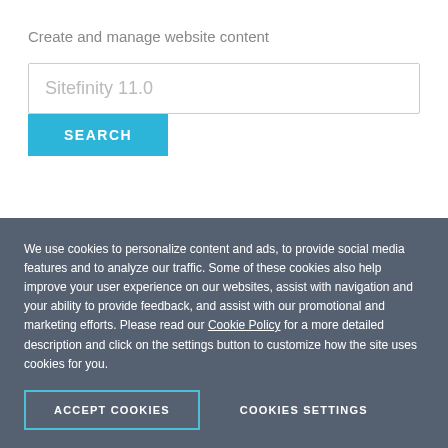Create and manage website content
[Figure (screenshot): Search input box with placeholder text 'Sitefinity 11.0' and a teal SEARCH button below]
Loading
Sitefinity CMS documentation / Content: Create and manage website content
We use cookies to personalize content and ads, to provide social media features and to analyze our traffic. Some of these cookies also help improve your user experience on our websites, assist with navigation and your ability to provide feedback, and assist with our promotional and marketing efforts. Please read our Cookie Policy for a more detailed description and click on the settings button to customize how the site uses cookies for you.
ACCEPT COOKIES
COOKIES SETTINGS